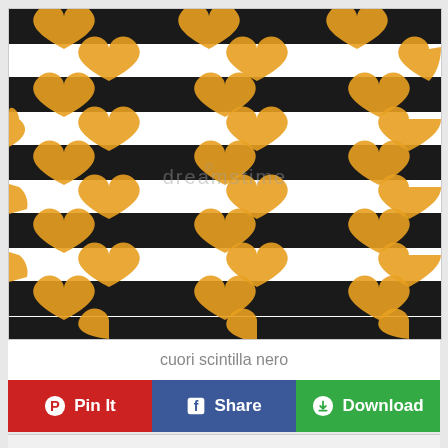[Figure (illustration): Black and white horizontal stripes pattern with golden textured heart shapes scattered across in a repeating pattern. Dreamstime watermark visible in center.]
cuori scintilla nero
Pin It
Share
Download